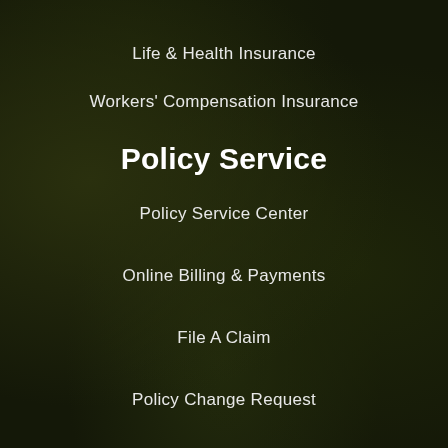Life & Health Insurance
Workers' Compensation Insurance
Policy Service
Policy Service Center
Online Billing & Payments
File A Claim
Policy Change Request